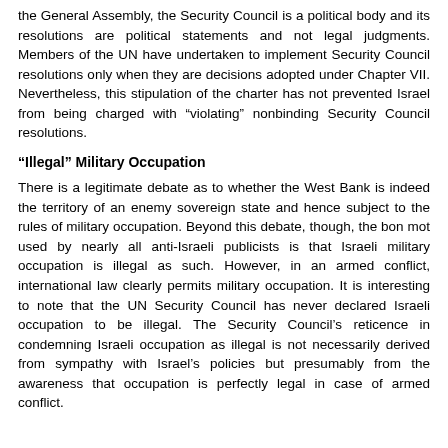the General Assembly, the Security Council is a political body and its resolutions are political statements and not legal judgments. Members of the UN have undertaken to implement Security Council resolutions only when they are decisions adopted under Chapter VII. Nevertheless, this stipulation of the charter has not prevented Israel from being charged with "violating" nonbinding Security Council resolutions.
“Illegal” Military Occupation
There is a legitimate debate as to whether the West Bank is indeed the territory of an enemy sovereign state and hence subject to the rules of military occupation. Beyond this debate, though, the bon mot used by nearly all anti-Israeli publicists is that Israeli military occupation is illegal as such. However, in an armed conflict, international law clearly permits military occupation. It is interesting to note that the UN Security Council has never declared Israeli occupation to be illegal. The Security Council’s reticence in condemning Israeli occupation as illegal is not necessarily derived from sympathy with Israel’s policies but presumably from the awareness that occupation is perfectly legal in case of armed conflict.